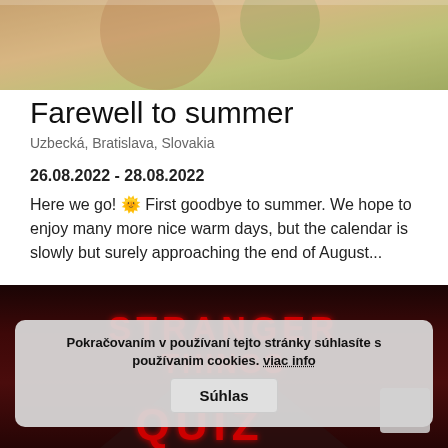[Figure (photo): Top banner image showing people at an outdoor event with various sponsor logos visible against a warm background]
Farewell to summer
Uzbecká, Bratislava, Slovakia
26.08.2022 - 28.08.2022
Here we go! 🌞 First goodbye to summer. We hope to enjoy many more nice warm days, but the calendar is slowly but surely approaching the end of August...
[Figure (photo): Stranger Things themed quiz promotional image with red neon-style text on dark background showing STRANGER THINGS and QUIZ]
Pokračovaním v používaní tejto stránky súhlasíte s používanim cookies. viac info  Súhlas